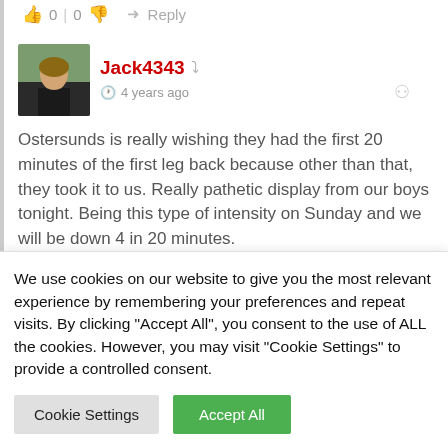👍 0 | 0 👎  → Reply
[Figure (photo): User avatar photo of Jack4343 - a child in dark clothing outdoors]
Jack4343  ⤶  🕐 4 years ago  🔗
Ostersunds is really wishing they had the first 20 minutes of the first leg back because other than that, they took it to us. Really pathetic display from our boys tonight. Being this type of intensity on Sunday and we will be down 4 in 20 minutes. There's really so many things we did wrong today
We use cookies on our website to give you the most relevant experience by remembering your preferences and repeat visits. By clicking "Accept All", you consent to the use of ALL the cookies. However, you may visit "Cookie Settings" to provide a controlled consent.
Cookie Settings
Accept All